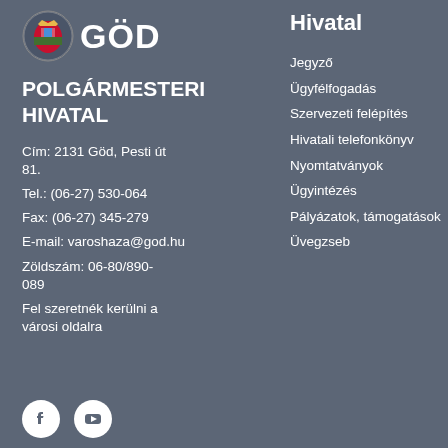[Figure (logo): GÖD city logo with coat of arms and GÖD text]
POLGÁRMESTERI HIVATAL
Cím: 2131 Göd, Pesti út 81.
Tel.: (06-27) 530-064
Fax: (06-27) 345-279
E-mail: varoshaza@god.hu
Zöldszám: 06-80/890-089
Fel szeretnék kerülni a városi oldalra
Hivatal
Jegyző
Ügyfélfogadás
Szervezeti felépítés
Hivatali telefonkönyv
Nyomtatványok
Ügyintézés
Pályázatok, támogatások
Üvegzseb
[Figure (logo): Facebook social media icon - white circle with F logo]
[Figure (logo): YouTube social media icon - white circle with play button logo]